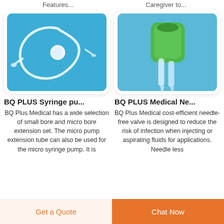Features...
Caregiver to...
[Figure (photo): BQ Plus syringe pump extension set tubing with connector, shown on blue background]
BQ PLUS Syringe pu...
BQ Plus Medical has a wide selection of small bore and micro bore extension set. The micro pump extension tube can also be used for the micro syringe pump. It is
[Figure (photo): BQ Plus Medical needle-free valve, green and clear plastic, shown on blue background]
BQ PLUS Medical Ne...
BQ Plus Medical cost-efficient needle-free valve is designed to reduce the risk of infection when injecting or aspirating fluids for applications. Needle less
Get a Quote
Chat Now